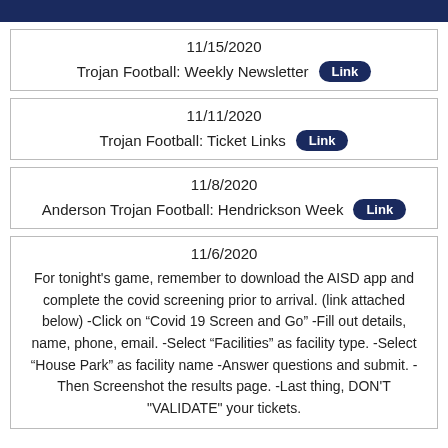11/15/2020
Trojan Football: Weekly Newsletter Link
11/11/2020
Trojan Football: Ticket Links Link
11/8/2020
Anderson Trojan Football: Hendrickson Week Link
11/6/2020
For tonight's game, remember to download the AISD app and complete the covid screening prior to arrival. (link attached below) -Click on “Covid 19 Screen and Go” -Fill out details, name, phone, email. -Select “Facilities” as facility type. -Select “House Park” as facility name -Answer questions and submit. -Then Screenshot the results page. -Last thing, DON'T "VALIDATE" your tickets.